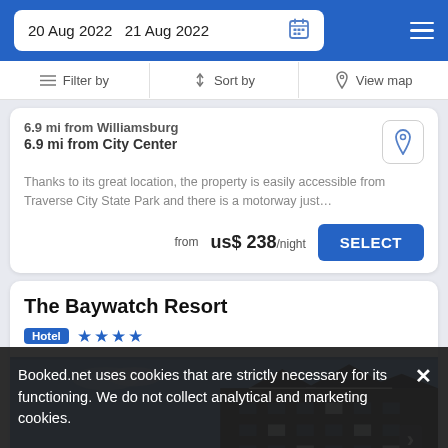20 Aug 2022  21 Aug 2022
Filter by  Sort by  View map
6.9 mi from Williamsburg
6.9 mi from City Center
Thanks to its great location, the property is easily accessible from Traverse City State Park and there is a motorway just…
from us$ 238/night
The Baywatch Resort
Hotel ★★★★
[Figure (photo): Exterior photo of The Baywatch Resort hotel building with blue sky background]
Booked.net uses cookies that are strictly necessary for its functioning. We do not collect analytical and marketing cookies.